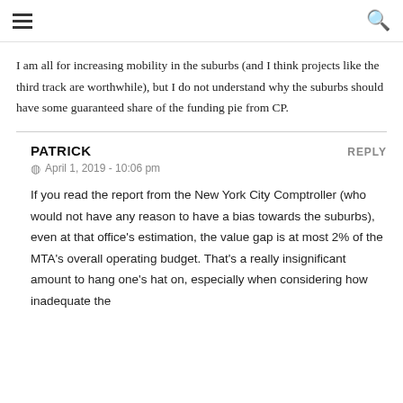≡  🔍
I am all for increasing mobility in the suburbs (and I think projects like the third track are worthwhile), but I do not understand why the suburbs should have some guaranteed share of the funding pie from CP.
PATRICK
Reply
April 1, 2019 - 10:06 pm
If you read the report from the New York City Comptroller (who would not have any reason to have a bias towards the suburbs), even at that office's estimation, the value gap is at most 2% of the MTA's overall operating budget. That's a really insignificant amount to hang one's hat on, especially when considering how inadequate the